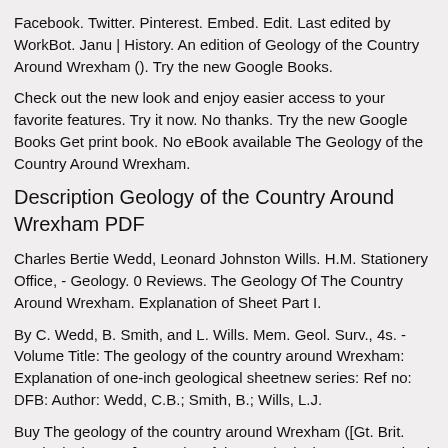Facebook. Twitter. Pinterest. Embed. Edit. Last edited by WorkBot. Janu | History. An edition of Geology of the Country Around Wrexham (). Try the new Google Books.
Check out the new look and enjoy easier access to your favorite features. Try it now. No thanks. Try the new Google Books Get print book. No eBook available The Geology of the Country Around Wrexham.
Description Geology of the Country Around Wrexham PDF
Charles Bertie Wedd, Leonard Johnston Wills. H.M. Stationery Office, - Geology. 0 Reviews. The Geology Of The Country Around Wrexham. Explanation of Sheet Part I.
By C. Wedd, B. Smith, and L. Wills. Mem. Geol. Surv., 4s. - Volume Title: The geology of the country around Wrexham: Explanation of one-inch geological sheetnew series: Ref no: DFB: Author: Wedd, C.B.; Smith, B.; Wills, L.J.
Buy The geology of the country around Wrexham ([Gt. Brit. Geological survey] Memoirs of the Geological Survey: England & Wales. Explanation of sheet ) by Wedd, Charles Bertie